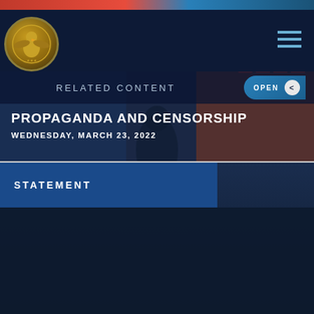Commission on Security and Cooperation in Europe
RELATED CONTENT
PROPAGANDA AND CENSORSHIP
WEDNESDAY, MARCH 23, 2022
STATEMENT